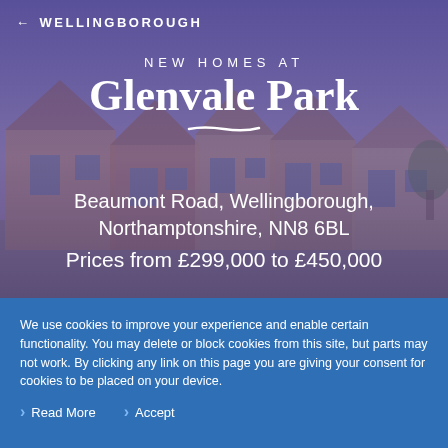← WELLINGBOROUGH
[Figure (photo): Photo of houses at Glenvale Park, Wellingborough, with purple/blue overlay tint]
NEW HOMES AT
Glenvale Park
Beaumont Road, Wellingborough, Northamptonshire, NN8 6BL
Prices from £299,000 to £450,000
We use cookies to improve your experience and enable certain functionality. You may delete or block cookies from this site, but parts may not work. By clicking any link on this page you are giving your consent for cookies to be placed on your device.
Read More   Accept